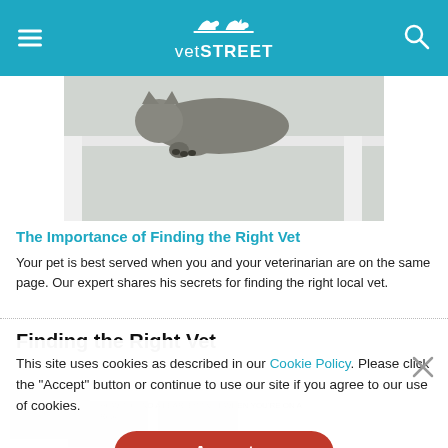vetSTREET
[Figure (photo): A cat lying under a white table, paw visible in foreground]
The Importance of Finding the Right Vet
Your pet is best served when you and your veterinarian are on the same page. Our expert shares his secrets for finding the right local vet.
Finding the Right Vet
This site uses cookies as described in our Cookie Policy. Please click the "Accept" button or continue to use our site if you agree to our use of cookies.